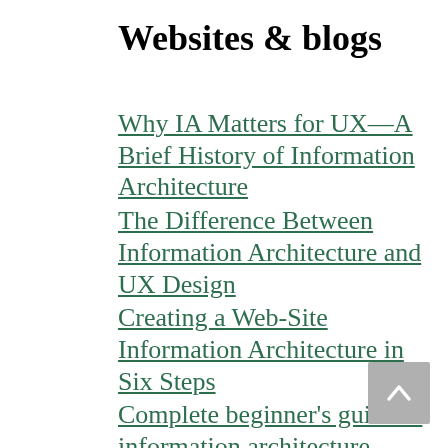Websites & blogs
Why IA Matters for UX—A Brief History of Information Architecture
The Difference Between Information Architecture and UX Design
Creating a Web-Site Information Architecture in Six Steps
Complete beginner's guide to information architecture
My collection of Information Architecture related articles on Pocket